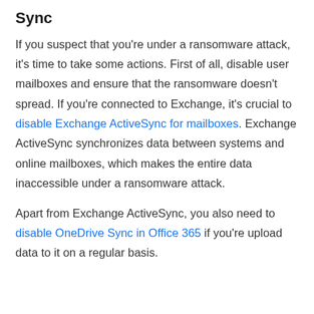Sync
If you suspect that you're under a ransomware attack, it's time to take some actions. First of all, disable user mailboxes and ensure that the ransomware doesn't spread. If you're connected to Exchange, it's crucial to disable Exchange ActiveSync for mailboxes. Exchange ActiveSync synchronizes data between systems and online mailboxes, which makes the entire data inaccessible under a ransomware attack.
Apart from Exchange ActiveSync, you also need to disable OneDrive Sync in Office 365 if you're upload data to it on a regular basis.